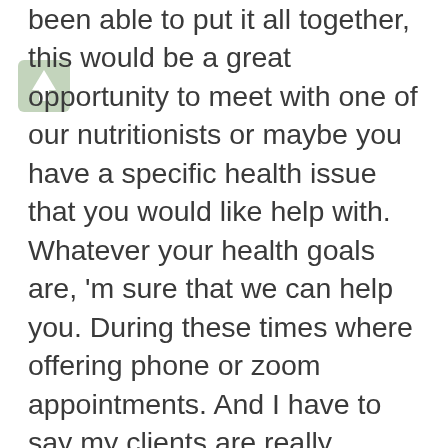been able to put it all together, this would be a great opportunity to meet with one of our nutritionists or maybe you have a specific health issue that you would like help with. Whatever your health goals are, 'm sure that we can help you. During these times where offering phone or zoom appointments. And I have to say my clients are really appreciating the convenience of our zoom and phone appointments. For more information, go to weightandwellness.com. Oh, did I mention that if you've already seen a nutritionist at Nutritional Weight & Wellness, we have a package on sale for you too. As I mentioned earlier, all NutriKey products are 15% off July 18th through July 26th. NutriKey products are manufactured in the United States and are